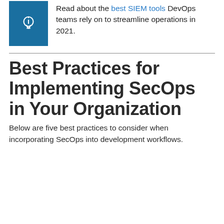Read about the best SIEM tools DevOps teams rely on to streamline operations in 2021.
Best Practices for Implementing SecOps in Your Organization
Below are five best practices to consider when incorporating SecOps into development workflows.